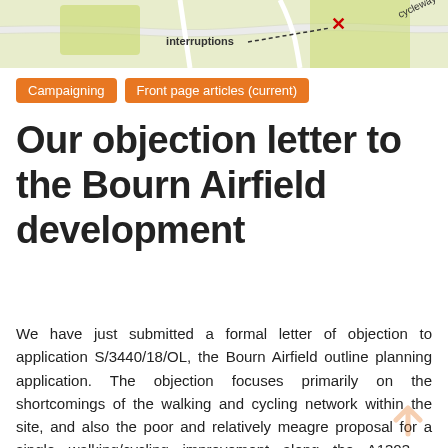[Figure (map): Partial map image showing road network with 'interruptions' label and a red X near a cycleway]
Campaigning
Front page articles (current)
Our objection letter to the Bourn Airfield development
We have just submitted a formal letter of objection to application S/3440/18/OL, the Bourn Airfield outline planning application. The objection focuses primarily on the shortcomings of the walking and cycling network within the site, and also the poor and relatively meagre proposal for a single walking/cycling improvement along the A1303 – Madingley Road.
One of the early signs that motor traffic is